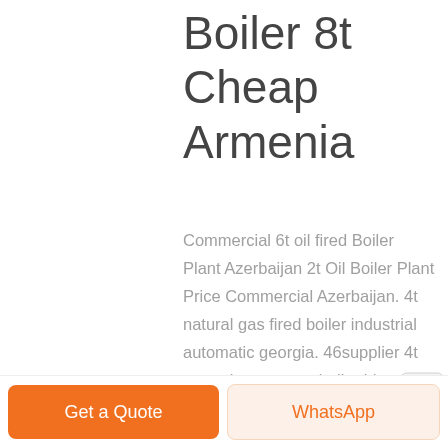Boiler 8t Cheap Armenia
Commercial 6t oil fired Boiler Plant Azerbaijan 2t Oil Boiler Plant Price Commercial Azerbaijan. 4t natural gas fired boiler industrial automatic georgia. 46supplier 4t natural gas steam boiler bhutan25 Sep 2020 WNS series oil,gas, fired,boiler, is a safe and high efficiency
[Figure (other): Scroll to top button with upward arrow icon]
Get a Quote   WhatsApp